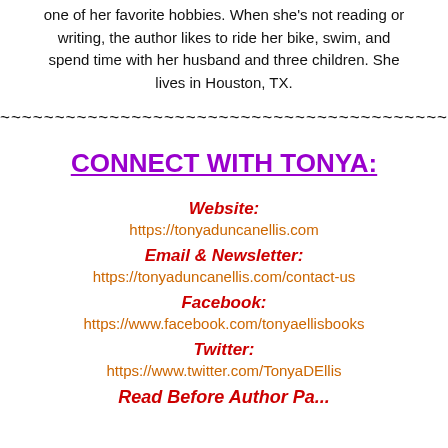one of her favorite hobbies. When she's not reading or writing, the author likes to ride her bike, swim, and spend time with her husband and three children. She lives in Houston, TX.
~~~~~~~~~~~~~~~~~~~~~~~~~~~~~~~~~~~~~~~~~~~~~~~~
CONNECT WITH TONYA:
Website:
https://tonyaduncanellis.com
Email & Newsletter:
https://tonyaduncanellis.com/contact-us
Facebook:
https://www.facebook.com/tonyaellisbooks
Twitter:
https://www.twitter.com/TonyaDEllis